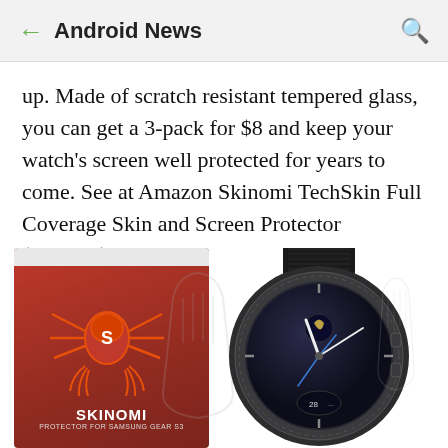Android News
up. Made of scratch resistant tempered glass, you can get a 3-pack for $8 and keep your watch's screen well protected for years to come. See at Amazon Skinomi TechSkin Full Coverage Skin and Screen Protector (Frontier)
[Figure (photo): Product photo showing Skinomi screen protector box (red/orange packaging with spider logo and SKINOMI branding) alongside a Samsung Gear S3 Frontier smartwatch displaying a moon phase watch face.]